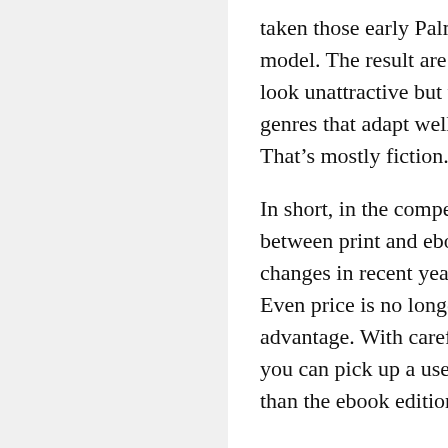taken those early Palm Pilot ebooks as their model. The result are ebooks that not only look unattractive but that have to stick with genres that adapt well to crude formats. That’s mostly fiction.
In short, in the competition for readers between print and ebooks, most of the changes in recent years are benefiting print. Even price is no longer to an ebook’s advantage. With careful shopping online, you can pick up a used print copy cheaper than the ebook edition